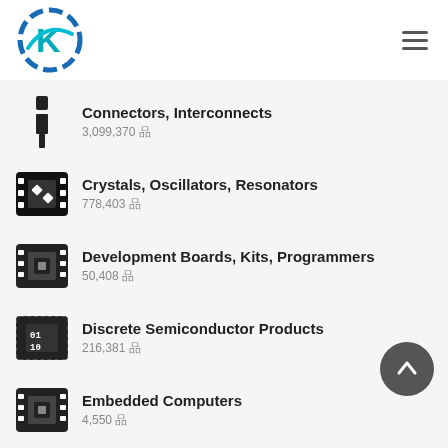K logo + hamburger menu
Connectors, Interconnects
3,099,370 品
Crystals, Oscillators, Resonators
778,403 品
Development Boards, Kits, Programmers
50,408 品
Discrete Semiconductor Products
216,381 品
Embedded Computers
4,550 品